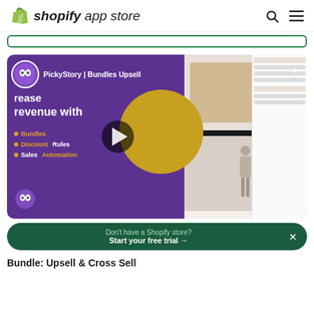shopify app store
[Figure (screenshot): Shopify App Store search bar with green border]
[Figure (screenshot): PickyStory | Bundles Upsell video thumbnail on purple background with play button, showing bullet points: Bundles, Discount Rules, Sales Automation]
Don't have a Shopify store? Start your free trial →
Bundle: Upsell & Cross Sell